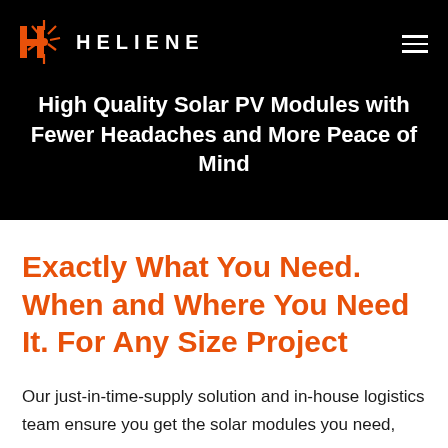[Figure (logo): Heliene logo: orange H with starburst graphic and HELIENE text in white on black background]
High Quality Solar PV Modules with Fewer Headaches and More Peace of Mind
Exactly What You Need. When and Where You Need It. For Any Size Project
Our just-in-time-supply solution and in-house logistics team ensure you get the solar modules you need,